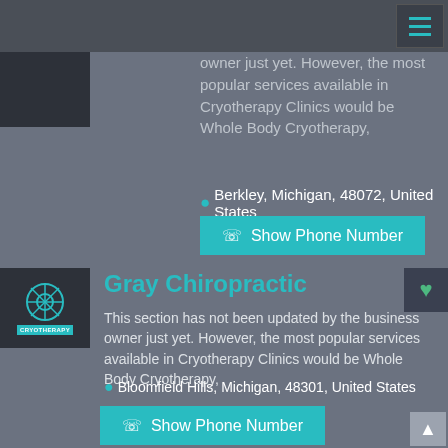owner just yet. However, the most popular services available in Cryotherapy Clinics would be Whole Body Cryotherapy,
Berkley, Michigan, 48072, United States
Show Phone Number
Gray Chiropractic
This section has not been updated by the business owner just yet. However, the most popular services available in Cryotherapy Clinics would be Whole Body Cryotherapy,
Bloomfield Hills, Michigan, 48301, United States
Show Phone Number